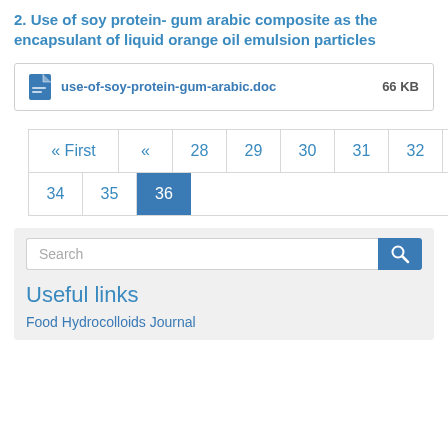2. Use of soy protein- gum arabic composite as the encapsulant of liquid orange oil emulsion particles
[Figure (other): File attachment box showing use-of-soy-protein-gum-arabic.doc, 66 KB]
[Figure (other): Pagination control with: « First, «, 28, 29, 30, 31, 32, 33, 34, 35, 36 (active)]
[Figure (other): Sidebar section with search box and Useful links heading and Food Hydrocolloids Journal link]